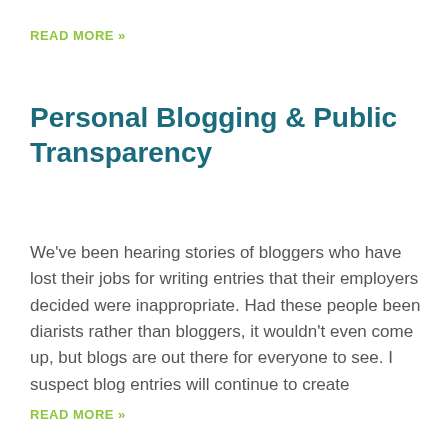READ MORE »
Personal Blogging & Public Transparency
We've been hearing stories of bloggers who have lost their jobs for writing entries that their employers decided were inappropriate. Had these people been diarists rather than bloggers, it wouldn't even come up, but blogs are out there for everyone to see. I suspect blog entries will continue to create
READ MORE »